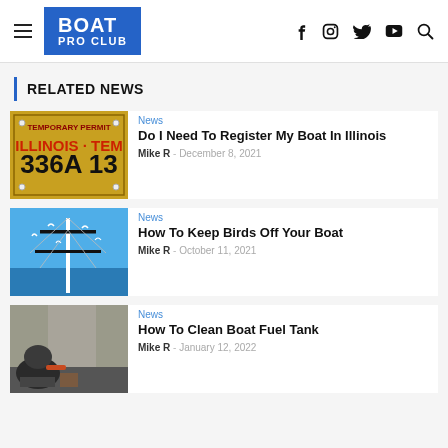BOAT PRO CLUB
RELATED NEWS
[Figure (photo): Illinois temporary permit license plate showing 'ILLINOIS TEM' and '336A 13' in yellow and black]
News
Do I Need To Register My Boat In Illinois
Mike R  -  December 8, 2021
[Figure (illustration): Illustration of a boat mast with birds perched on it against a blue sky with a body of water]
News
How To Keep Birds Off Your Boat
Mike R  -  October 11, 2021
[Figure (photo): Photo of a person cleaning or working on a boat fuel tank, crouching near equipment]
News
How To Clean Boat Fuel Tank
Mike R  -  January 12, 2022